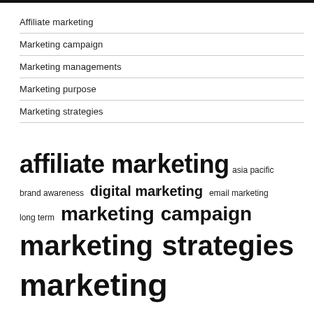Affiliate marketing
Marketing campaign
Marketing managements
Marketing purpose
Marketing strategies
[Figure (infographic): Tag cloud with marketing-related keywords in varying font sizes indicating frequency/importance: 'affiliate marketing' (largest), 'marketing strategies', 'marketing strategy', 'marketing campaign', 'digital marketing', 'products services', 'brand awareness', 'email marketing', 'long term', 'asia pacific', 'market report', 'market research', 'north america']